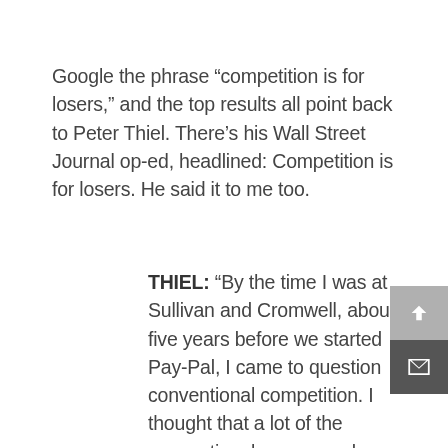Google the phrase “competition is for losers,” and the top results all point back to Peter Thiel. There’s his Wall Street Journal op-ed, headlined: Competition is for losers. He said it to me too.
THIEL: “By the time I was at Sullivan and Cromwell, about five years before we started Pay-Pal, I came to question conventional competition. I thought that a lot of the conventional ways people competed resulted in too many people doing conventional things, and then you end up in very competitive dynamics and then even when you win it’s not